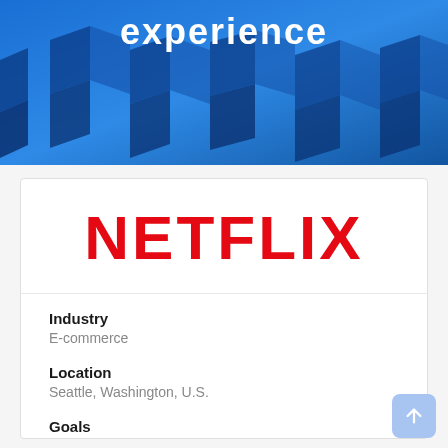[Figure (illustration): Blue gradient hero banner with 3D geometric cube shapes and the word 'experience' in white bold text at the top]
[Figure (logo): Netflix logo in red bold text on white background]
Industry
E-commerce
Location
Seattle, Washington, U.S.
Goals